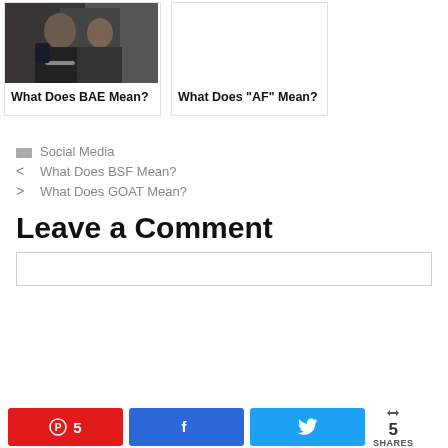[Figure (photo): Photo of people, likely a couple, used as card thumbnail for 'What Does BAE Mean?' article]
What Does BAE Mean?
[Figure (photo): Blank/white image placeholder for 'What Does AF Mean?' article]
What Does “AF” Mean?
Social Media
What Does BSF Mean?
What Does GOAT Mean?
Leave a Comment
5 SHARES